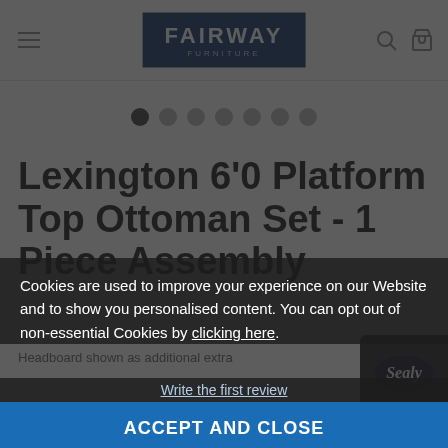Fairway Furniture — navigation header with logo, hamburger menu, search and bag icons
[Figure (screenshot): Carousel dot indicators — 7 dots, first dot active (dark), rest grey]
Lexington 6'0 Platform Top Ottoman Set - 1 Piece Assembly
Headboard shown as additional extra
[Figure (logo): Sealy brand logo on dark rounded rectangle]
Cookies are used to improve your experience on our Website and to show you personalised content. You can opt out of non-essential Cookies by clicking here.
Write the first review
ACCEPT AND CLOSE
Must
or just £56.25 per month
✓ Available – allow 4 weeks for delivery